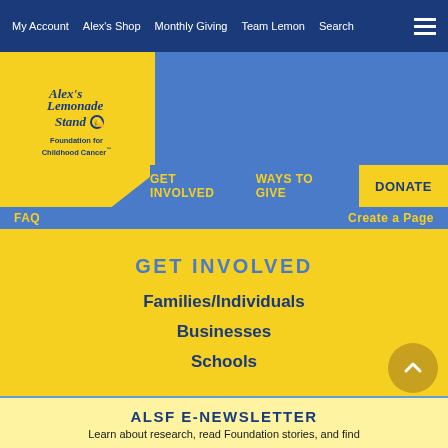My Account  Alex's Shop  Monthly Giving  Team Lemon  Search
[Figure (logo): Alex's Lemonade Stand Foundation for Childhood Cancer logo on yellow badge]
GET INVOLVED  WAYS TO GIVE  DONATE
FAQ  Create a Page
GET INVOLVED
Families/Individuals
Businesses
Schools
ALSF E-NEWSLETTER
Learn about research, read Foundation stories, and find